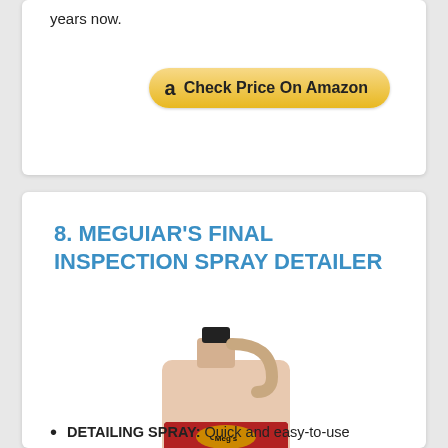years now.
Check Price On Amazon
8. MEGUIAR'S FINAL INSPECTION SPRAY DETAILER
[Figure (photo): Product image of Meguiar's Final Inspection Spray Detailer in a large jug with a black cap and red label]
DETAILING SPRAY: Quick and easy-to-use